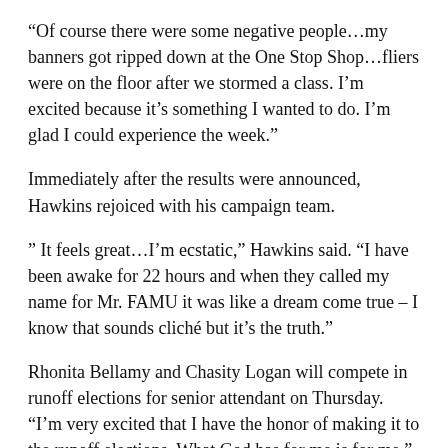“Of course there were some negative people…my banners got ripped down at the One Stop Shop…fliers were on the floor after we stormed a class. I’m excited because it’s something I wanted to do. I’m glad I could experience the week.”
Immediately after the results were announced, Hawkins rejoiced with his campaign team.
” It feels great…I’m ecstatic,” Hawkins said. “I have been awake for 22 hours and when they called my name for Mr. FAMU it was like a dream come true – I know that sounds cliché but it’s the truth.”
Rhonita Bellamy and Chasity Logan will compete in runoff elections for senior attendant on Thursday. “I’m very excited that I have the honor of making it to the runoff elections. What God has for me is for me,” Logan said.